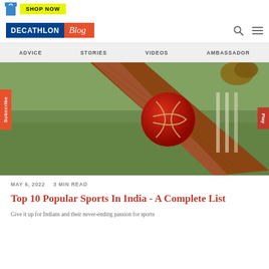[Figure (logo): Shop Now button with blue shopping bag icon and yellow background]
DECATHLON Blog
ADVICE   STORIES   VIDEOS   AMBASSADOR
[Figure (photo): Close-up photo of a red cricket ball resting on a cricket bat, with cricket stumps in background and green foliage]
MAY 6, 2022   3 MIN READ
Top 10 Popular Sports In India - A Complete List
Give it up for Indians and their never-ending passion for sports